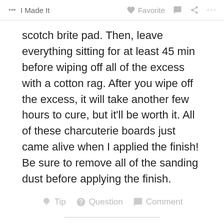I Made It  Favorite  Comment  Share  ...
scotch brite pad. Then, leave everything sitting for at least 45 min before wiping off all of the excess with a cotton rag. After you wipe off the excess, it will take another few hours to cure, but it'll be worth it. All of these charcuterie boards just came alive when I applied the finish! Be sure to remove all of the sanding dust before applying the finish.
Step 18: CONCLUSION